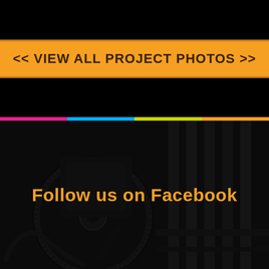<< VIEW ALL PROJECT PHOTOS >>
[Figure (photo): Dark industrial photo showing a large diamond blade saw cutting through metal or concrete structure, with steel frames/channels visible in background. Image has a dark overlay.]
Follow us on Facebook